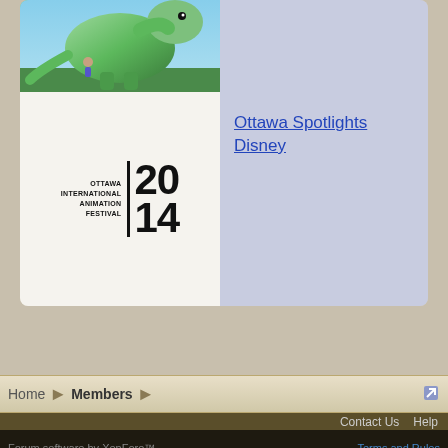[Figure (photo): Green dinosaur character image (top-left thumbnail)]
[Figure (illustration): Purple/lavender blank content area (top-right)]
[Figure (logo): Ottawa International Animation Festival 2014 logo]
Ottawa Spotlights Disney
Online Statistics
|  |  |
| --- | --- |
| Members Online: | 0 |
| Guests Online: | 43 |
| Robots Online: | 12 |
| Total Visitors: | 55 |
Totals may include hidden visitors.
Home Members
Contact Us  Help
Forum software by XenForo™  Terms and Rules